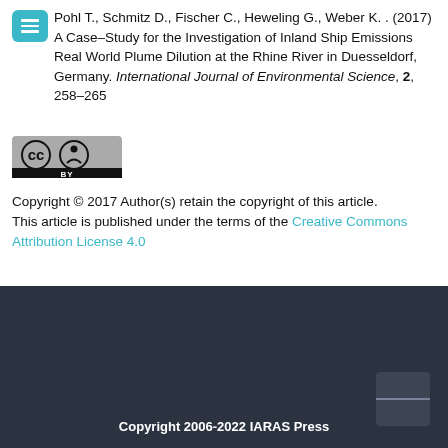Pohl T., Schmitz D., Fischer C., Heweling G., Weber K. . (2017) A Case-Study for the Investigation of Inland Ship Emissions Real World Plume Dilution at the Rhine River in Duesseldorf, Germany. International Journal of Environmental Science, 2, 258-265
[Figure (logo): Creative Commons CC BY license logo]
Copyright © 2017 Author(s) retain the copyright of this article.
This article is published under the terms of the Creative Commons Attribution License 4.0
Copyright 2006-2022 IARAS Press